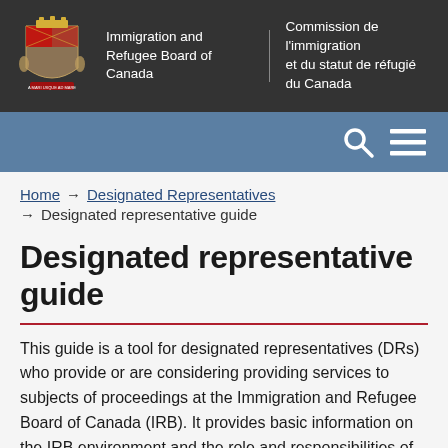Immigration and Refugee Board of Canada | Commission de l'immigration et du statut de réfugié du Canada
Home → Designated Representatives → Designated representative guide
Designated representative guide
This guide is a tool for designated representatives (DRs) who provide or are considering providing services to subjects of proceedings at the Immigration and Refugee Board of Canada (IRB). It provides basic information on the IRB environment and the role and responsibilities of